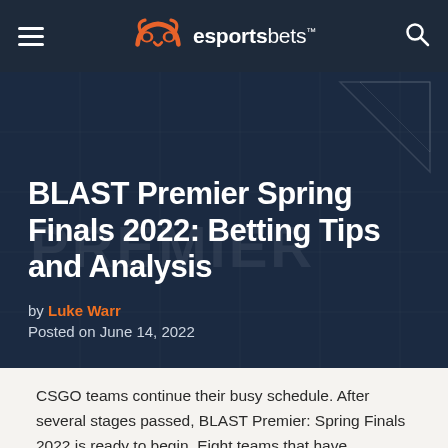esportsbets
BLAST Premier Spring Finals 2022: Betting Tips and Analysis
by Luke Warr
Posted on June 14, 2022
CSGO teams continue their busy schedule. After several stages passed, BLAST Premier: Spring Finals 2022 is ready to begin. Eight teams that have